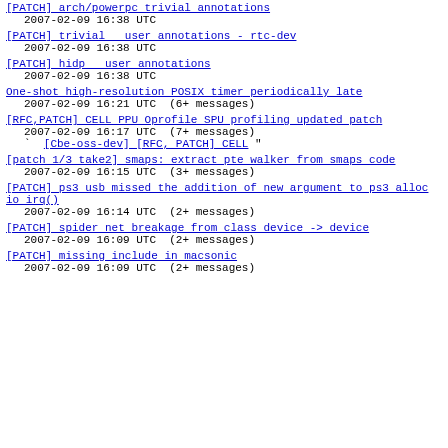[PATCH] arch/powerpc trivial annotations
2007-02-09 16:38 UTC
[PATCH] trivial   user annotations - rtc-dev
2007-02-09 16:38 UTC
[PATCH] hidp   user annotations
2007-02-09 16:38 UTC
One-shot high-resolution POSIX timer periodically late
2007-02-09 16:21 UTC  (6+ messages)
[RFC,PATCH] CELL PPU Oprofile SPU profiling updated patch
2007-02-09 16:17 UTC  (7+ messages)
` [Cbe-oss-dev] [RFC, PATCH] CELL "
[patch 1/3 take2] smaps: extract pte walker from smaps code
2007-02-09 16:15 UTC  (3+ messages)
[PATCH] ps3 usb missed the addition of new argument to ps3 alloc io irq()
2007-02-09 16:14 UTC  (2+ messages)
[PATCH] spider net breakage from class device -> device
2007-02-09 16:09 UTC  (2+ messages)
[PATCH] missing include in macsonic
2007-02-09 16:09 UTC  (2+ messages)